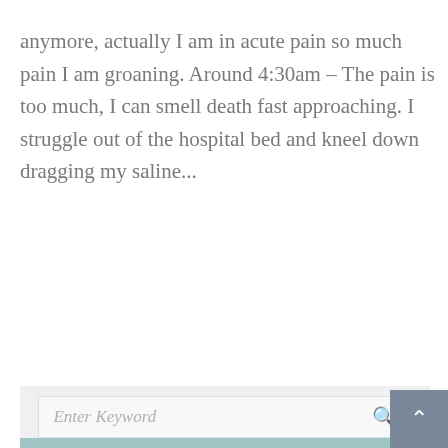anymore, actually I am in acute pain so much pain I am groaning. Around 4:30am – The pain is too much, I can smell death fast approaching. I struggle out of the hospital bed and kneel down dragging my saline...
READ MORE
SEARCH
Enter Keyword